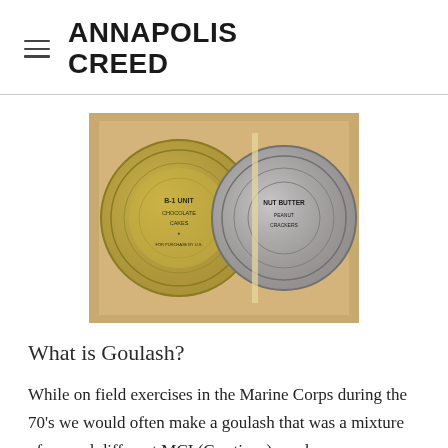ANNAPOLIS CREED
[Figure (photo): Two military ration cans (MCI/C-rations) viewed from above inside a cardboard box. Left can reads 'B-1 UNIT CHOCOLATE CAKES' and right can appears to read 'NUT BUTTER' or similar. Both cans have silver/gold lids.]
What is Goulash?
While on field exercises in the Marine Corps during the 70's we would often make a goulash that was a mixture of several different MCI (C-rations) meal